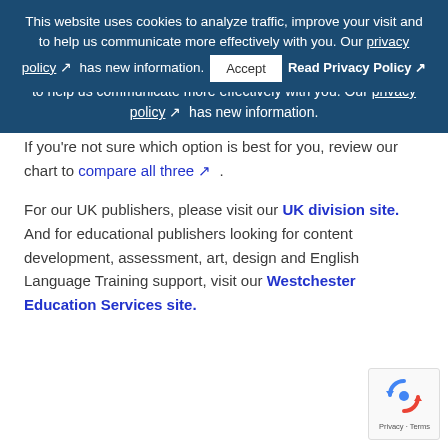This website uses cookies to analyze traffic, improve your visit and to help us communicate more effectively with you. Our privacy policy ↗ has new information. [Accept] [Read Privacy Policy ↗]
If you're not sure which option is best for you, review our chart to compare all three ↗ .
For our UK publishers, please visit our UK division site. And for educational publishers looking for content development, assessment, art, design and English Language Training support, visit our Westchester Education Services site.
[Figure (logo): reCAPTCHA badge with recycle-arrows logo and 'Privacy - Terms' text]